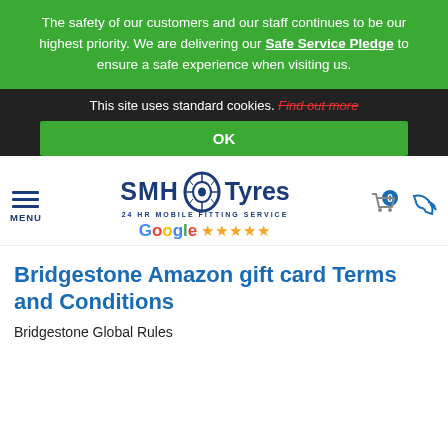The safety of our customers and our staff continues to be our highest priority. We are delivering our Safe Service Pledge to ensure a safe experience when visiting us.
This site uses standard cookies. Find out more
OK
[Figure (logo): SMH Tyres logo with tyre icon, 24hr Mobile Fitting Service subtitle, and Google 5-star rating]
Bridgestone Amazon gift card Terms and Conditions
Bridgestone Global Rules